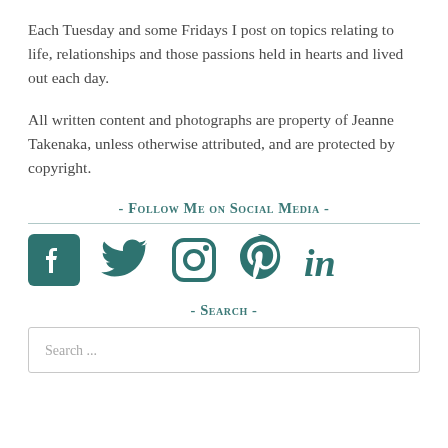Each Tuesday and some Fridays I post on topics relating to life, relationships and those passions held in hearts and lived out each day.
All written content and photographs are property of Jeanne Takenaka, unless otherwise attributed, and are protected by copyright.
- Follow Me on Social Media -
[Figure (infographic): Row of five social media icons in teal: Facebook, Twitter, Instagram, Pinterest, LinkedIn]
- Search -
Search ...